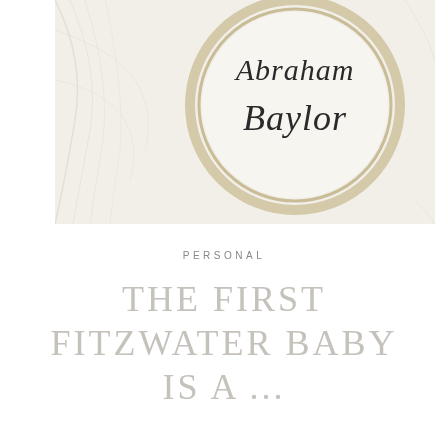[Figure (photo): Close-up photograph of an embroidery hoop on white fabric with the name 'Abraham Baylor' stitched in cursive black thread]
PERSONAL
THE FIRST FITZWATER BABY IS A ...